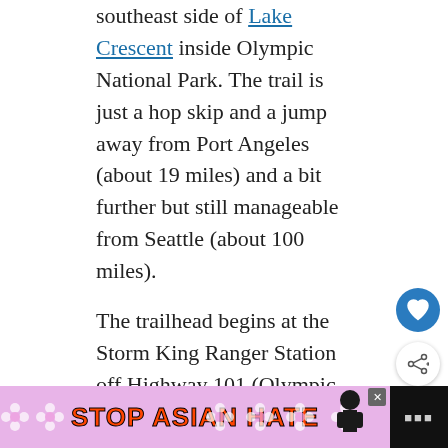southeast side of Lake Crescent inside Olympic National Park. The trail is just a hop skip and a jump away from Port Angeles (about 19 miles) and a bit further but still manageable from Seattle (about 100 miles).
The trailhead begins at the Storm King Ranger Station off Highway 101 (Olympic Highway). At milepost 228, you'll take a right turn onto Lake Crescent Rd. There is a large parking lot with access to bath... last chance to go before you begin your...
[Figure (other): Heart/favorite button (blue circle with white heart icon) and share button (white circle with share icon)]
[Figure (other): What's Next panel showing '15 Epic Hikes in Mount...' with a forest thumbnail image]
[Figure (other): Advertisement banner: 'STOP ASIAN HATE' with floral design and a character illustration, purple background with orange text. Close button visible.]